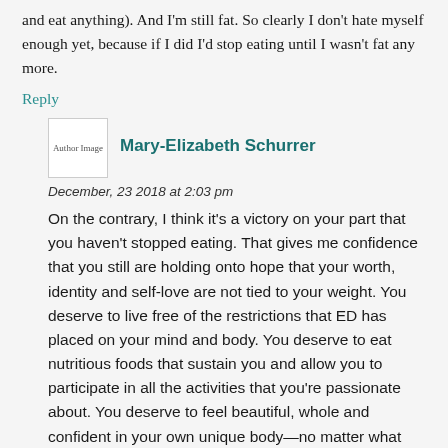and eat anything). And I'm still fat. So clearly I don't hate myself enough yet, because if I did I'd stop eating until I wasn't fat any more.
Reply
[Figure (photo): Author image placeholder]
Mary-Elizabeth Schurrer
December, 23 2018 at 2:03 pm
On the contrary, I think it's a victory on your part that you haven't stopped eating. That gives me confidence that you still are holding onto hope that your worth, identity and self-love are not tied to your weight. You deserve to live free of the restrictions that ED has placed on your mind and body. You deserve to eat nutritious foods that sustain you and allow you to participate in all the activities that you're passionate about. You deserve to feel beautiful, whole and confident in your own unique body—no matter what size it is. Don't give into the urge to starve yourself